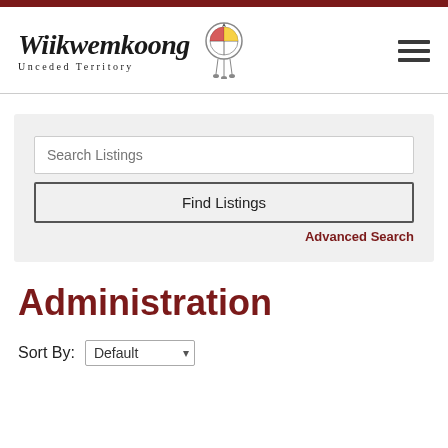[Figure (logo): Wiikwemkoong Unceded Territory logo with dreamcatcher icon]
Search Listings
Find Listings
Advanced Search
Administration
Sort By: Default